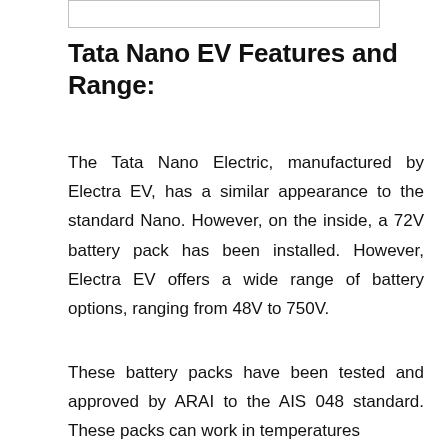[Figure (other): Empty white box with border at top of page]
Tata Nano EV Features and Range:
The Tata Nano Electric, manufactured by Electra EV, has a similar appearance to the standard Nano. However, on the inside, a 72V battery pack has been installed. However, Electra EV offers a wide range of battery options, ranging from 48V to 750V.
These battery packs have been tested and approved by ARAI to the AIS 048 standard. These packs can work in temperatures